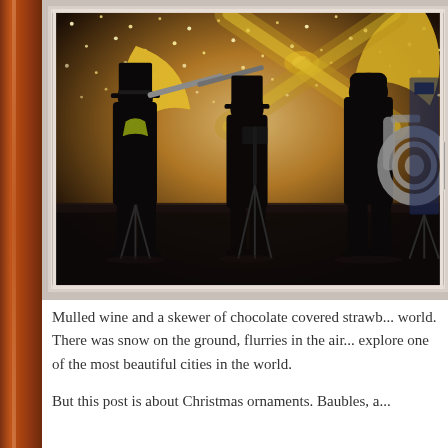[Figure (photo): Three musicians in silhouette playing brass instruments (trombone, tuba) on a stage decorated with fairy lights and large golden butterfly/bow ornament decorations. Dark atmospheric Christmas market or festival setting.]
Mulled wine and a skewer of chocolate covered strawb... world. There was snow on the ground, flurries in the air... explore one of the most beautiful cities in the world.
But this post is about Christmas ornaments. Baubles, a...